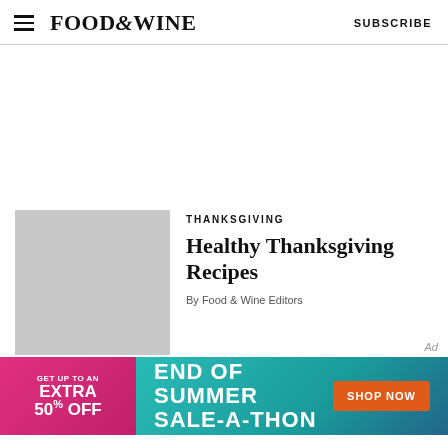FOOD&WINE   SUBSCRIBE
[Figure (illustration): Gray placeholder thumbnail image for article]
THANKSGIVING
Healthy Thanksgiving Recipes
By Food & Wine Editors
[Figure (infographic): End of Summer Sale-A-Thon advertisement banner with pink left panel showing GET UP TO AN EXTRA 50% OFF and teal/blue right panel with END OF SUMMER SALE-A-THON and orange SHOP NOW button]
Ad